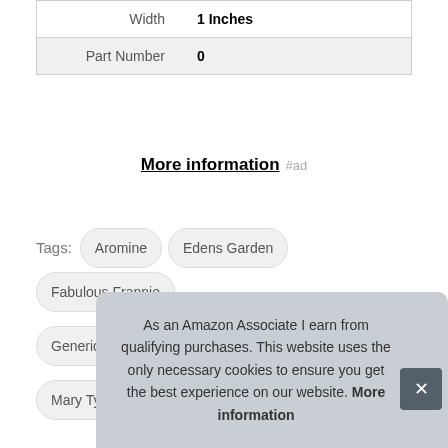| Width | 1 Inches |
| Part Number | 0 |
More information #ad
Tags: Aromine  Edens Garden  Fabulous Frannie  Generic  Gya Labs  Healing Solutions  Mary Tylor Naturals  Plant Therapy
As an Amazon Associate I earn from qualifying purchases. This website uses the only necessary cookies to ensure you get the best experience on our website. More information